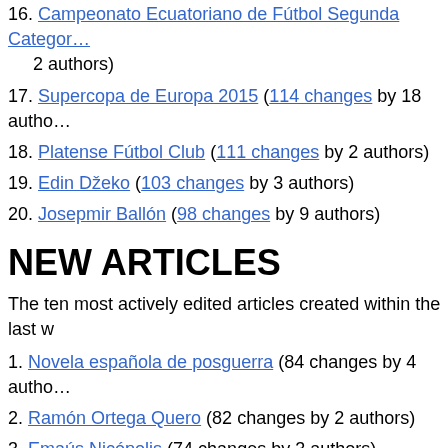16. Campeonato Ecuatoriano de Fútbol Segunda Categoría (... 2 authors)
17. Supercopa de Europa 2015 (114 changes by 18 authors)
18. Platense Fútbol Club (111 changes by 2 authors)
19. Edin Džeko (103 changes by 3 authors)
20. Josepmir Ballón (98 changes by 9 authors)
NEW ARTICLES
The ten most actively edited articles created within the last w
1. Novela española de posguerra (84 changes by 4 authors)
2. Ramón Ortega Quero (82 changes by 2 authors)
3. Emaús Nicópolis (74 changes by 3 authors)
4. Ariadna (ópera) (71 changes by 4 authors)
5. Sofisticación (69 changes by 1 authors)
6. Fabiola Pulido (68 changes by 6 authors)
7. Terrence Evans (67 changes by 4 authors)
8. Alphabet Inc. (65 changes by 7 authors)
9. Jonathan Ollivier (65 changes by 7 authors)